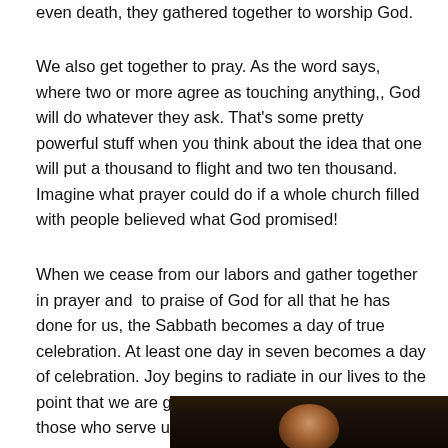even death, they gathered together to worship God.
We also get together to pray. As the word says, where two or more agree as touching anything,, God will do whatever they ask. That’s some pretty powerful stuff when you think about the idea that one will put a thousand to flight and two ten thousand. Imagine what prayer could do if a whole church filled with people believed what God promised!
When we cease from our labors and gather together in prayer and  to praise of God for all that he has done for us, the Sabbath becomes a day of true celebration. At least one day in seven becomes a day of celebration. Joy begins to radiate in our lives to the point that we are gracious to all those we mean, even those who serve us.
[Figure (photo): Dark photograph showing a person, partially visible at the bottom of the page.]